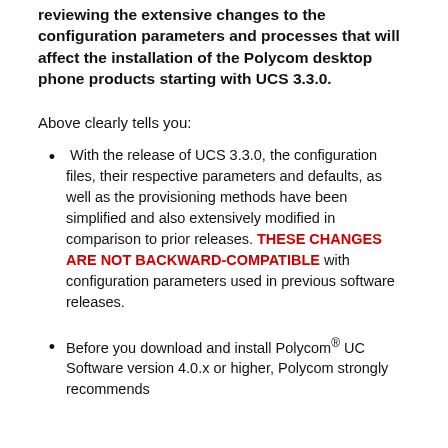reviewing the extensive changes to the configuration parameters and processes that will affect the installation of the Polycom desktop phone products starting with UCS 3.3.0.
Above clearly tells you:
With the release of UCS 3.3.0, the configuration files, their respective parameters and defaults, as well as the provisioning methods have been simplified and also extensively modified in comparison to prior releases. THESE CHANGES ARE NOT BACKWARD-COMPATIBLE with configuration parameters used in previous software releases.
Before you download and install Polycom® UC Software version 4.0.x or higher, Polycom strongly recommends